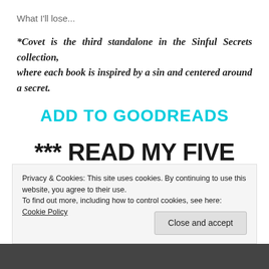What I'll lose...
*Covet is the third standalone in the Sinful Secrets collection, where each book is inspired by a sin and centered around a secret.
ADD TO GOODREADS
*** READ MY FIVE STAR
Privacy & Cookies: This site uses cookies. By continuing to use this website, you agree to their use. To find out more, including how to control cookies, see here: Cookie Policy
Close and accept